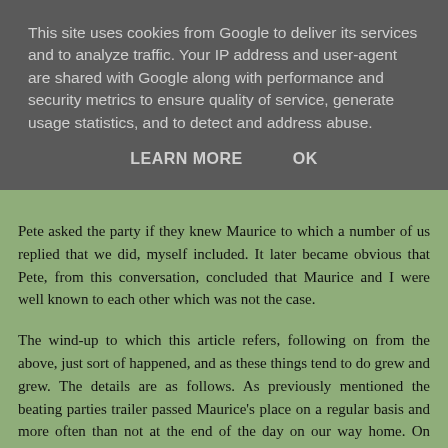This site uses cookies from Google to deliver its services and to analyze traffic. Your IP address and user-agent are shared with Google along with performance and security metrics to ensure quality of service, generate usage statistics, and to detect and address abuse.
LEARN MORE    OK
Pete asked the party if they knew Maurice to which a number of us replied that we did, myself included. It later became obvious that Pete, from this conversation, concluded that Maurice and I were well known to each other which was not the case.
The wind-up to which this article refers, following on from the above, just sort of happened, and as these things tend to do grew and grew. The details are as follows. As previously mentioned the beating parties trailer passed Maurice's place on a regular basis and more often than not at the end of the day on our way home. On many occasions this was in the dark as the last part of the days shooting was right at the far end of the shoot, miles from our base. On many of those occasions smoke would be seen rising from Maurice's barn chimney. On one such occasion it was commented that Maurice...